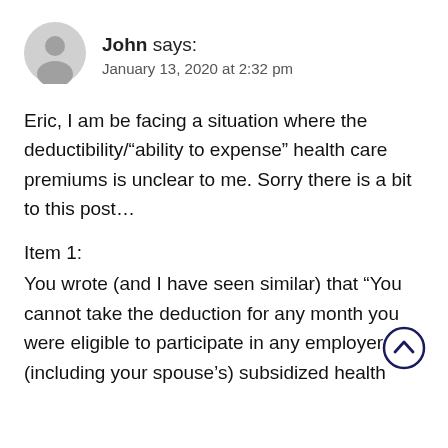[Figure (other): Gray user avatar icon (silhouette of a person in a circle)]
John says:
January 13, 2020 at 2:32 pm
Eric, I am be facing a situation where the deductibility/“ability to expense” health care premiums is unclear to me. Sorry there is a bit to this post…
Item 1:
You wrote (and I have seen similar) that “You cannot take the deduction for any month you were eligible to participate in any employer (including your spouse’s) subsidized health
[Figure (other): Scroll-up button: circle with upward chevron arrow, dark navy border]